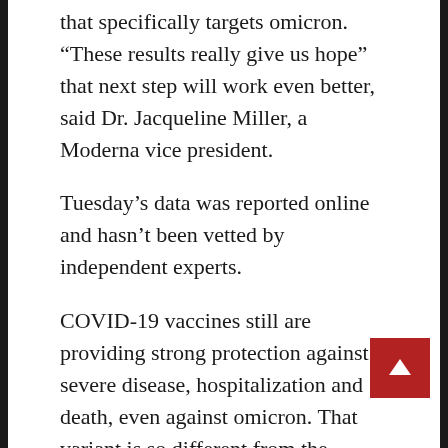that specifically targets omicron. “These results really give us hope” that next step will work even better, said Dr. Jacqueline Miller, a Moderna vice president.
Tuesday’s data was reported online and hasn’t been vetted by independent experts.
COVID-19 vaccines still are providing strong protection against severe disease, hospitalization and death, even against omicron. That variant is so different from the original coronavirus that it more easily slips past the immune system’s defenses, although studies in the U.S. and elsewhere show an original booster dose strengthens protection. Some countries offer particularly vulnerable people a second booster; in the U.S., that’s anyone 50 or older or those with a severely weakened immune